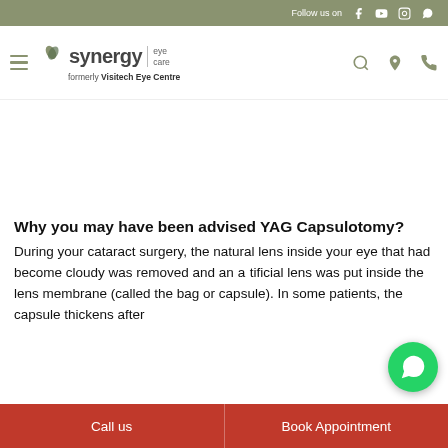Follow us on [social icons]
[Figure (logo): Synergy Eye Care logo with hamburger menu, search, location, and phone icons. Formerly Visitech Eye Centre.]
Why you may have been advised YAG Capsulotomy?
During your cataract surgery, the natural lens inside your eye that had become cloudy was removed and an artificial lens was put inside the lens membrane (called the bag or capsule). In some patients, the capsule thickens after
Call us | Book Appointment